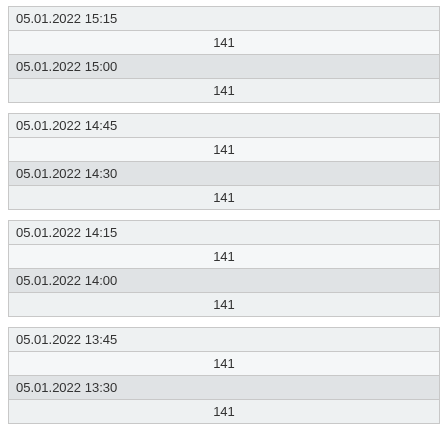| 05.01.2022 15:15 |
| 141 |
| 05.01.2022 15:00 |
| 141 |
| 05.01.2022 14:45 |
| 141 |
| 05.01.2022 14:30 |
| 141 |
| 05.01.2022 14:15 |
| 141 |
| 05.01.2022 14:00 |
| 141 |
| 05.01.2022 13:45 |
| 141 |
| 05.01.2022 13:30 |
| 141 |